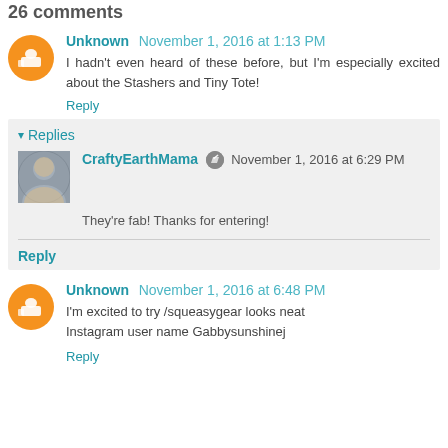26 comments
Unknown  November 1, 2016 at 1:13 PM
I hadn't even heard of these before, but I'm especially excited about the Stashers and Tiny Tote!
Reply
Replies
CraftyEarthMama  November 1, 2016 at 6:29 PM
They're fab! Thanks for entering!
Reply
Unknown  November 1, 2016 at 6:48 PM
I'm excited to try /squeasygear looks neat
Instagram user name Gabbysunshinej
Reply